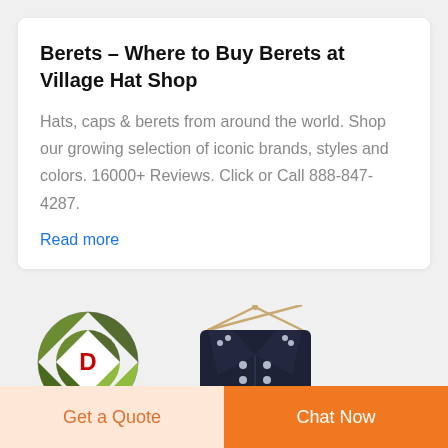Berets – Where to Buy Berets at Village Hat Shop
Hats, caps & berets from around the world. Shop our growing selection of iconic brands, styles and colors. 16000+ Reviews. Click or Call 888-847-4287.
Read more
[Figure (logo): DEEKON logo: circular camouflage pattern with letter D in center, red text DEEKON below]
[Figure (photo): Dark navy military-style jacket on a hanger with silver buttons and collar insignia]
Get a Quote
Chat Now